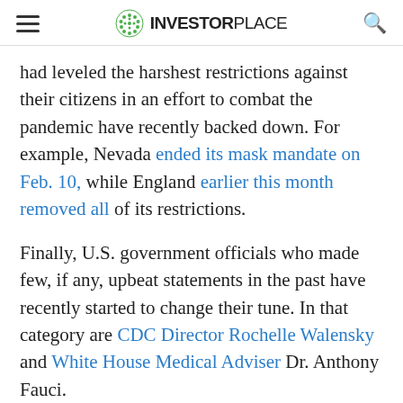INVESTORPLACE
had leveled the harshest restrictions against their citizens in an effort to combat the pandemic have recently backed down. For example, Nevada ended its mask mandate on Feb. 10, while England earlier this month removed all of its restrictions.
Finally, U.S. government officials who made few, if any, upbeat statements in the past have recently started to change their tune. In that category are CDC Director Rochelle Walensky and White House Medical Adviser Dr. Anthony Fauci.
Taken together, these developments and other, similar